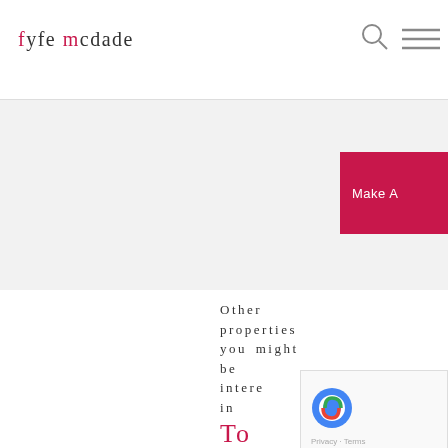fyfe mcdade
[Figure (screenshot): Fyfe McDade property website screenshot showing logo, search icon, hamburger menu, gray content band with Make A button, other properties section, reCAPTCHA widget, To Let label, and Leigh Street Bloomsbury London WC1 address]
Other properties you might be interested in
To Let
Leigh street bloomsbury london wc1h